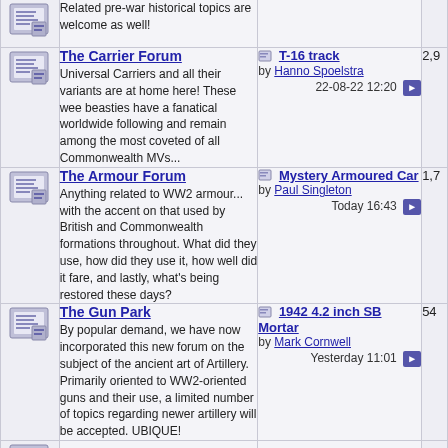Related pre-war historical topics are welcome as well!
The Carrier Forum - Universal Carriers and all their variants are at home here! These wee beasties have a fanatical worldwide following and remain among the most coveted of all Commonwealth MVs...
T-16 track by Hanno Spoelstra 22-08-22 12:20
The Armour Forum - Anything related to WW2 armour... with the accent on that used by British and Commonwealth formations throughout. What did they use, how did they use it, how well did it fare, and lastly, what's being restored these days?
Mystery Armoured Car by Paul Singleton Today 16:43
The Gun Park - By popular demand, we have now incorporated this new forum on the subject of the ancient art of Artillery. Primarily oriented to WW2-oriented guns and their use, a limited number of topics regarding newer artillery will be accepted. UBIQUE!
1942 4.2 inch SB Mortar by Mark Cornwell Yesterday 11:01
Post-war Military